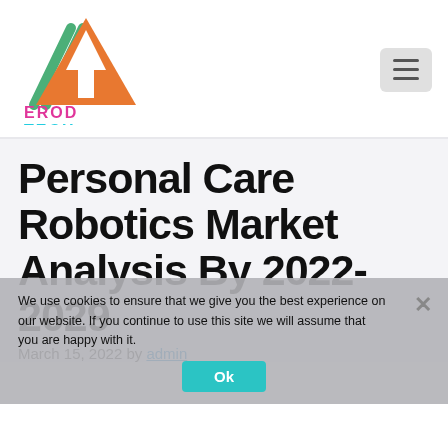[Figure (logo): EROD TECH logo: orange/green triangle with arrow, text 'EROD TECH' in magenta/cyan retro style]
Personal Care Robotics Market Analysis By 2022-2029
March 15, 2022 by admin
We use cookies to ensure that we give you the best experience on our website. If you continue to use this site we will assume that you are happy with it.